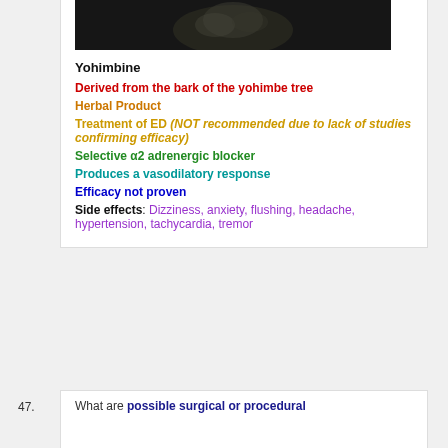[Figure (photo): Dark photograph of yohimbe tree bark]
Yohimbine
Derived from the bark of the yohimbe tree
Herbal Product
Treatment of ED (NOT recommended due to lack of studies confirming efficacy)
Selective α2 adrenergic blocker
Produces a vasodilatory response
Efficacy not proven
Side effects: Dizziness, anxiety, flushing, headache, hypertension, tachycardia, tremor
47. What are possible surgical or procedural